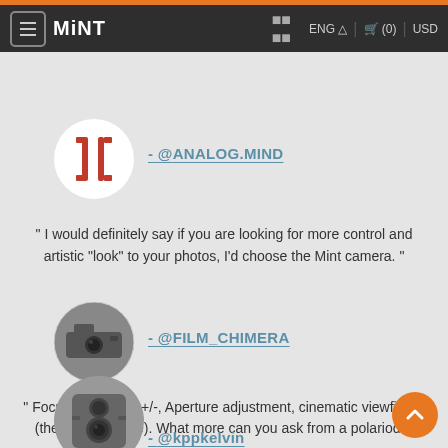MiNT | ENG | (0) | USD
[Figure (logo): Circular logo with stylized bracket/letter mark in red on white background for @ANALOG.MIND]
- @ANALOG.MIND
" I would definitely say if you are looking for more control and artistic "look" to your photos, I'd choose the Mint camera. "
[Figure (photo): Circular profile photo showing a film camera on a surface, black and white, for @FILM_CHIMERA]
- @FILM_CHIMERA
" Focus wheel, EV +/-, Aperture adjustment, cinematic viewfinder (the pro wannabe). What more can you ask from a polariod. "
[Figure (photo): Circular profile photo showing a twin-lens reflex camera, black and white, for @kppkelvin]
- @kppkelvin